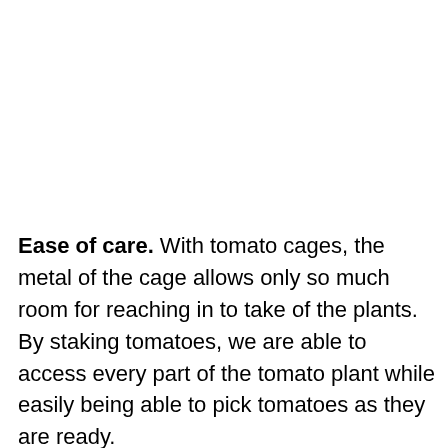Ease of care. With tomato cages, the metal of the cage allows only so much room for reaching in to take of the plants. By staking tomatoes, we are able to access every part of the tomato plant while easily being able to pick tomatoes as they are ready.
For staking tomatoes, you'll only need a couple of things: